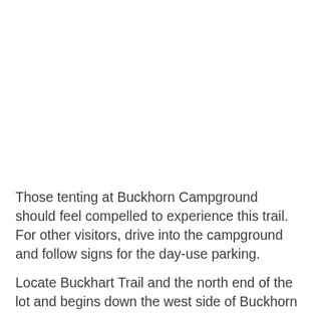Those tenting at Buckhorn Campground should feel compelled to experience this trail. For other visitors, drive into the campground and follow signs for the day-use parking.
Locate Buckhart Trail and the north end of the lot and begins down the west side of Buckhorn